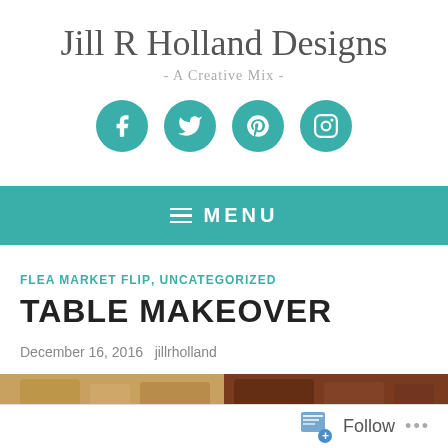Jill R Holland Designs
- A Creative Mix -
[Figure (infographic): Four teal circular social media icons: Facebook, Twitter, Pinterest, Instagram]
MENU
FLEA MARKET FLIP, UNCATEGORIZED
TABLE MAKEOVER
December 16, 2016   jillrholland
[Figure (photo): Partial view of two photos showing wooden table before and after makeover]
Follow  ...